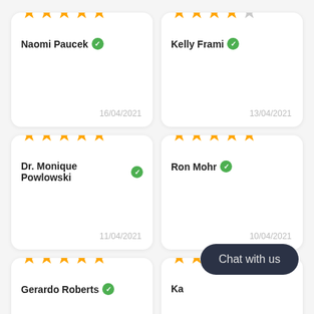★★★★★ Naomi Paucek ✓ 16/04/2021
★★★★☆ Kelly Frami ✓ 13/04/2021
★★★★★ Dr. Monique Powlowski ✓ 11/04/2021
★★★★★ Ron Mohr ✓ 10/04/2021
★★★★★ Gerardo Roberts ✓
Ka... Chat with us